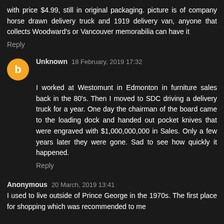with price $4.99, still in original packaging. picture is of company horse drawn delivery truck and 1919 delivery van, anyone that collects Woodward's or Vancouver memorabilia can have it
Reply
Unknown 18 February, 2019 17:32
I worked at Westomunt in Edmonton in furniture sales back in the 80's. Then I moved to SDC driving a delivery truck for a year. One day the chairman of the board came to the loading dock and handed out pocket knives that were engraved with $1,000,000,000 in Sales. Only a few years later they were gone. Sad to see how quickly it happened.
Reply
Anonymous 20 March, 2019 13:41
I used to live outside of Prince George in the 1970s. The first place for shopping which was recommended to me